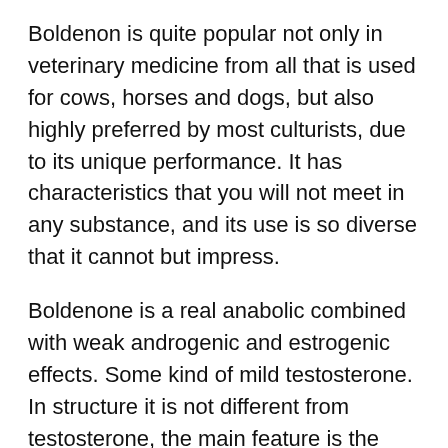Boldenon is quite popular not only in veterinary medicine from all that is used for cows, horses and dogs, but also highly preferred by most culturists, due to its unique performance. It has characteristics that you will not meet in any substance, and its use is so diverse that it cannot but impress.
Boldenone is a real anabolic combined with weak androgenic and estrogenic effects. Some kind of mild testosterone. In structure it is not different from testosterone, the main feature is the presence of a double bond in the first position and also in the fourth position. This fact, however, gives the drug good demand.
For athletes not weightlifting or bodybuilding, it is also notable, boldenone, one of the most preferred steroids, as it also stimulates kidney release of eretropoetin, a hormone known as EPO and stimulating the production of